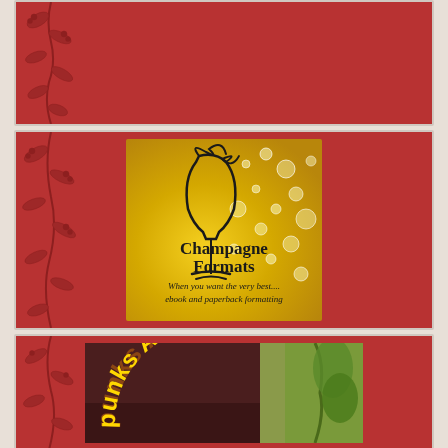[Figure (illustration): Red textured panel with dark floral/vine pattern on left side - top panel]
[Figure (logo): Champagne Formats logo: golden background with bubbles, champagne flute illustration, text reads 'Champagne Formats - When you want the very best.... ebook and paperback formatting']
[Figure (photo): Bottom panel showing partial photo with text 'punks Asse' in gold arc lettering, red and yellow/green background]